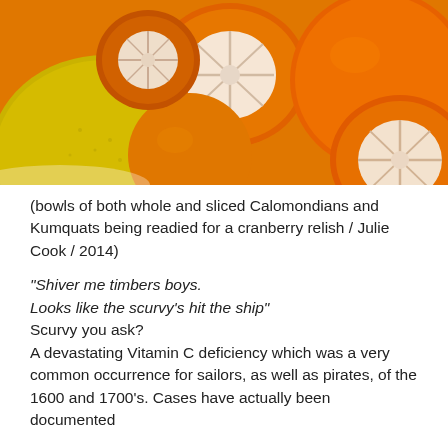[Figure (photo): Close-up photo of bowls containing whole and sliced Calamondin and Kumquat citrus fruits, showing orange and yellow-green colors with white pith segments visible on cut surfaces.]
(bowls of both whole and sliced Calomondians and Kumquats being readied for a cranberry relish / Julie Cook / 2014)
“Shiver me timbers boys.
Looks like the scurvy’s hit the ship”
Scurvy you ask?
A devastating Vitamin C deficiency which was a very common occurrence for sailors, as well as pirates, of the 1600 and 1700’s. Cases have actually been documented